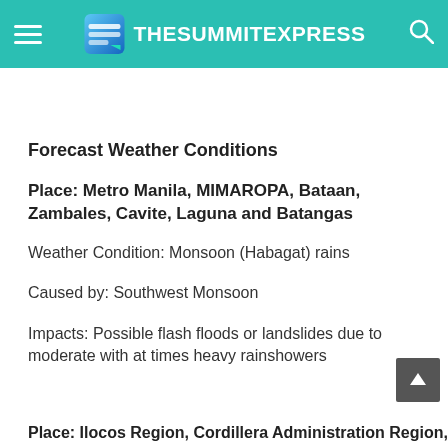TheSummitExpress
Forecast Weather Conditions
Place: Metro Manila, MIMAROPA, Bataan, Zambales, Cavite, Laguna and Batangas
Weather Condition: Monsoon (Habagat) rains
Caused by: Southwest Monsoon
Impacts: Possible flash floods or landslides due to moderate with at times heavy rainshowers
Place: Ilocos Region, Cordillera Administrative Region,